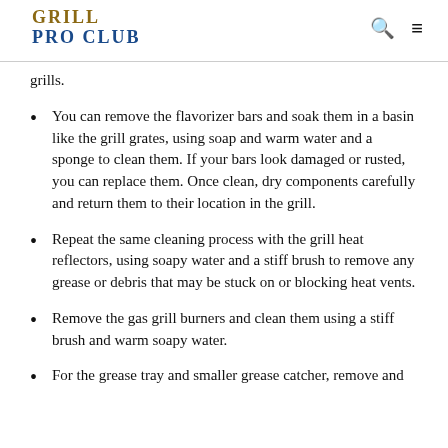GRILL PRO CLUB
grills.
You can remove the flavorizer bars and soak them in a basin like the grill grates, using soap and warm water and a sponge to clean them. If your bars look damaged or rusted, you can replace them. Once clean, dry components carefully and return them to their location in the grill.
Repeat the same cleaning process with the grill heat reflectors, using soapy water and a stiff brush to remove any grease or debris that may be stuck on or blocking heat vents.
Remove the gas grill burners and clean them using a stiff brush and warm soapy water.
For the grease tray and smaller grease catcher, remove and